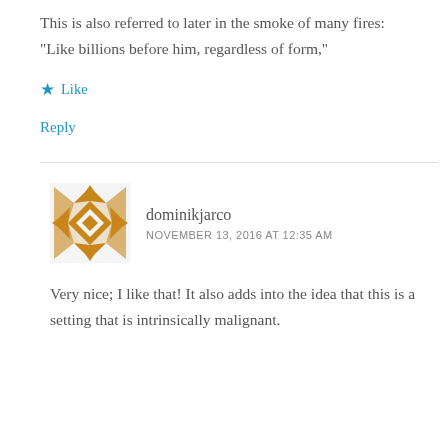This is also referred to later in the smoke of many fires: “Like billions before him, regardless of form,”
★ Like
Reply
dominikjarco
NOVEMBER 13, 2016 AT 12:35 AM
Very nice; I like that! It also adds into the idea that this is a setting that is intrinsically malignant.